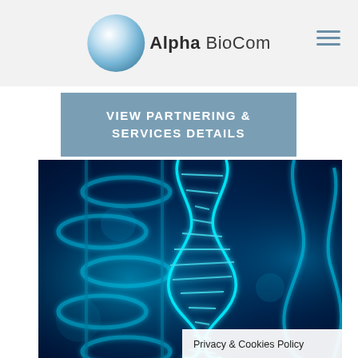[Figure (logo): Alpha BioCom logo with blue sphere and text]
VIEW PARTNERING & SERVICES DETAILS
[Figure (illustration): 3D rendered glowing cyan DNA double helix on dark blue background]
Privacy & Cookies Policy